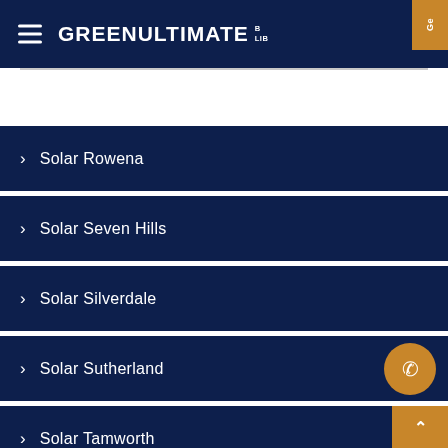GREENULTIMATE
Solar Rowena
Solar Seven Hills
Solar Silverdale
Solar Sutherland
Solar Tamworth
Solar Tempe